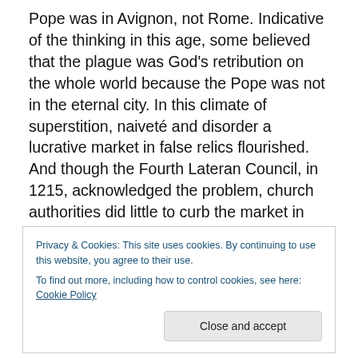Pope was in Avignon, not Rome. Indicative of the thinking in this age, some believed that the plague was God's retribution on the whole world because the Pope was not in the eternal city. In this climate of superstition, naiveté and disorder a lucrative market in false relics flourished. And though the Fourth Lateran Council, in 1215, acknowledged the problem, church authorities did little to curb the market in them. Our knowledge of this time in history rightly conditions us to be suspicious of any relic that might appear in Europe at this time. But I had not noticed its history, either. In metaphoric parlance, the
Privacy & Cookies: This site uses cookies. By continuing to use this website, you agree to their use.
To find out more, including how to control cookies, see here: Cookie Policy
Close and accept